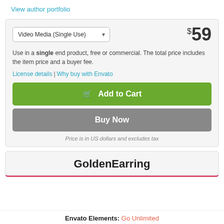View author portfolio
Video Media (Single Use) — $59
Use in a single end product, free or commercial. The total price includes the item price and a buyer fee.
License details | Why buy with Envato
Add to Cart
Buy Now
Price is in US dollars and excludes tax
GoldenEarring
Envato Elements: Go Unlimited